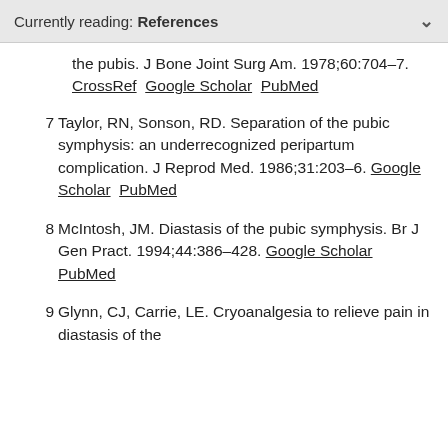Currently reading: References
the pubis. J Bone Joint Surg Am. 1978;60:704–7. CrossRef  Google Scholar  PubMed
7  Taylor, RN, Sonson, RD. Separation of the pubic symphysis: an underrecognized peripartum complication. J Reprod Med. 1986;31:203–6. Google Scholar  PubMed
8  McIntosh, JM. Diastasis of the pubic symphysis. Br J Gen Pract. 1994;44:386–428. Google Scholar  PubMed
9  Glynn, CJ, Carrie, LE. Cryoanalgesia to relieve pain in diastasis of the